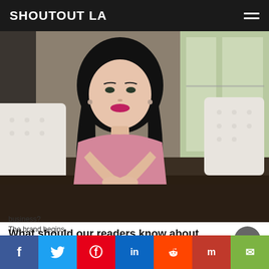SHOUTOUT LA
[Figure (photo): Woman with dark hair wearing a pink lace dress, seated at a wooden table with white tufted chairs in background, posing with hands under chin, smiling]
What should our readers know about your business?
The brand begins...